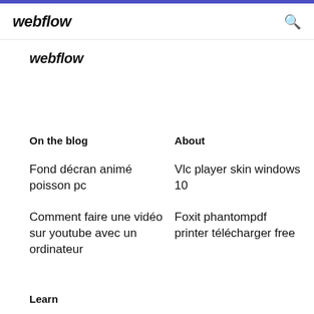webflow
webflow
On the blog
About
Fond décran animé poisson pc
Vlc player skin windows 10
Comment faire une vidéo sur youtube avec un ordinateur
Foxit phantompdf printer télécharger free
Learn